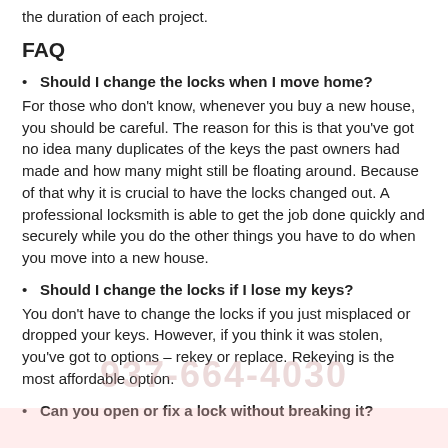the duration of each project.
FAQ
Should I change the locks when I move home?
For those who don't know, whenever you buy a new house, you should be careful. The reason for this is that you've got no idea many duplicates of the keys the past owners had made and how many might still be floating around. Because of that why it is crucial to have the locks changed out. A professional locksmith is able to get the job done quickly and securely while you do the other things you have to do when you move into a new house.
Should I change the locks if I lose my keys?
You don't have to change the locks if you just misplaced or dropped your keys. However, if you think it was stolen, you've got to options – rekey or replace. Rekeying is the most affordable option.
Can you open or fix a lock without breaking it?